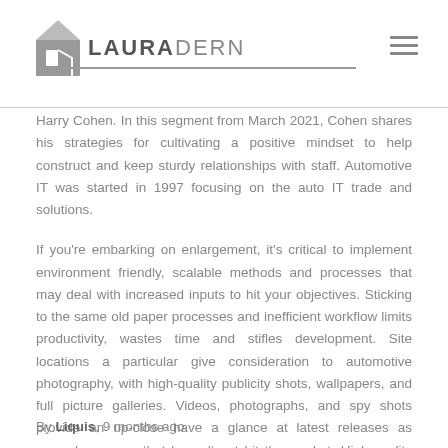LAURADERN
Harry Cohen. In this segment from March 2021, Cohen shares his strategies for cultivating a positive mindset to help construct and keep sturdy relationships with staff. Automotive IT was started in 1997 focusing on the auto IT trade and solutions.
If you're embarking on enlargement, it's critical to implement environment friendly, scalable methods and processes that may deal with increased inputs to hit your objectives. Sticking to the same old paper processes and inefficient workflow limits productivity, wastes time and stifles development. Site locations a particular give consideration to automotive photography, with high-quality publicity shots, wallpapers, and full picture galleries. Videos, photographs, and spy shots provide an up-close have a glance at latest releases as properly as cars that haven't yet hit the market. High-quality pictures and skilled movies cowl each new and traditional vehicles whereas additionally exhibiting the ...
By Liquis, 9 months ago